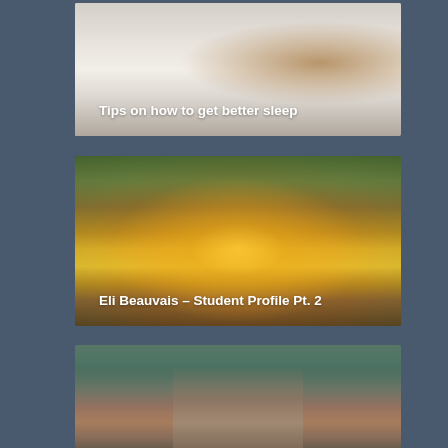[Figure (photo): Photo of a person sleeping in a bed with white pillows and blankets, dark wooden headboard]
Tips on how to get better sleep
[Figure (photo): Autumn landscape photo of a pond or lake with trees reflecting golden sunlight, warm orange and yellow tones]
Eli Beauvais – Student Profile Pt. 2
[Figure (photo): Blurred photo showing chess pieces in foreground and tufted leather seating in background]